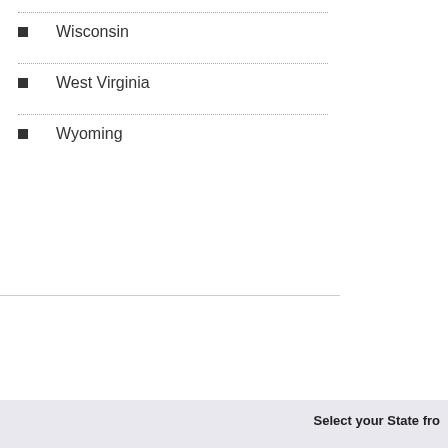Wisconsin
West Virginia
Wyoming
Select your State fro